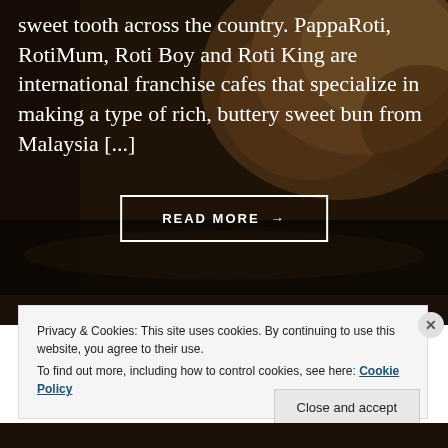[Figure (photo): Dark background photo of baked buns/bread, with overlay text and a READ MORE button]
sweet tooth across the country. PappaRoti, RotiMum, Roti Boy and Roti King are international franchise cafes that specialize in making a type of rich, buttery sweet bun from Malaysia [...]
READ MORE →
Privacy & Cookies: This site uses cookies. By continuing to use this website, you agree to their use.
To find out more, including how to control cookies, see here: Cookie Policy
Close and accept